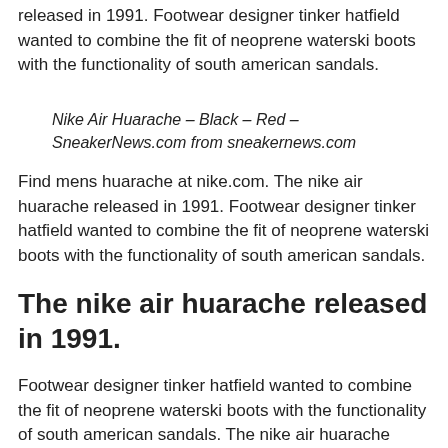released in 1991. Footwear designer tinker hatfield wanted to combine the fit of neoprene waterski boots with the functionality of south american sandals.
Nike Air Huarache – Black – Red – SneakerNews.com from sneakernews.com
Find mens huarache at nike.com. The nike air huarache released in 1991. Footwear designer tinker hatfield wanted to combine the fit of neoprene waterski boots with the functionality of south american sandals.
The nike air huarache released in 1991.
Footwear designer tinker hatfield wanted to combine the fit of neoprene waterski boots with the functionality of south american sandals. The nike air huarache released in 1991.